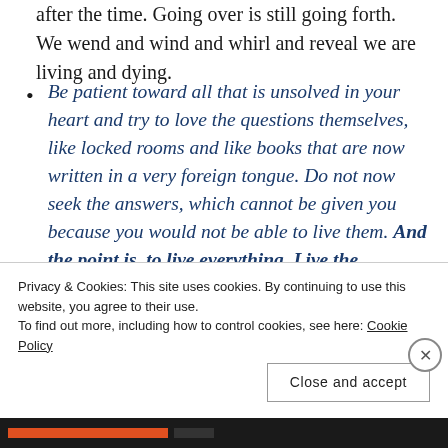after the time. Going over is still going forth. We wend and wind and whirl and reveal we are living and dying.
Be patient toward all that is unsolved in your heart and try to love the questions themselves, like locked rooms and like books that are now written in a very foreign tongue. Do not now seek the answers, which cannot be given you because you would not be able to live them. And the point is, to live everything. Live the questions now. Perhaps you will then gradually, without noticing it, live along some
Privacy & Cookies: This site uses cookies. By continuing to use this website, you agree to their use.
To find out more, including how to control cookies, see here: Cookie Policy
Close and accept